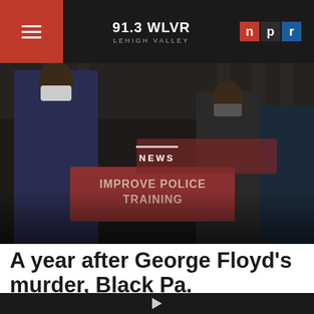91.3 WLVR LEHIGH VALLEY NPR
[Figure (photo): Protesters at a government building holding a red sign reading 'IMPROVE POLICE TRAINING', people wearing masks, dark overlay, outdoor protest scene]
NEWS
A year after George Floyd's murder, Black Pa. lawmakers double down on push for